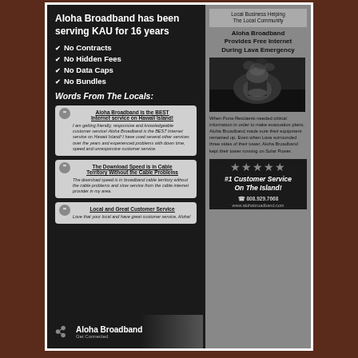Aloha Broadband has been serving KAU for 16 years
No Contracts
No Hidden Fees
No Data Caps
No Bundles
Words From The Locals:
Aloha Broadband is the BEST Internet service on Hawaii Island! I am getting friendly, responsive and knowledgeable customer service! Aloha Broadband is the BEST Internet service on Hawaii Island! I have used several other services over the years and experienced problems with down time, speed and unresponsive customer service.
The Download Speed is in Cable Territory Without the Cable Problems. The download speed is in broadband cable territory without the cable problems and slow service from the cable internet provider in my area.
Local and Great Customer Service. Love that your local and have great customer service, Aloha!
Local Business Helping The Local Community
Aloha Broadband Provides Free Internet During Lava Emergency
[Figure (photo): Black and white photo of a volcanic eruption at night with lava and ash cloud]
When Puna Residents needed critical information in order to make evacuation plans, Aloha Broadband made sure their equipment remained up. Even when Lava surrounded three sides of their tower, Aloha Broadband kept their tower running on Solar Power.
#1 Customer Service On The Island!
☎ 808.929.7668
www.alohabroadband.com
Aloha Broadband Get Connected.